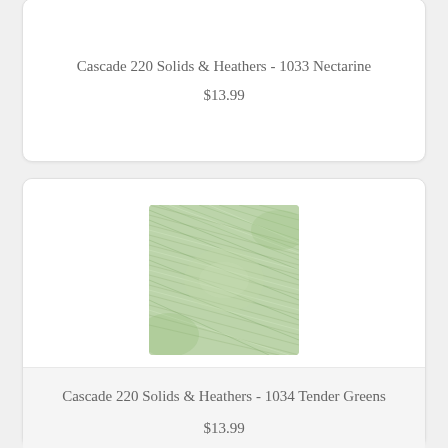Cascade 220 Solids & Heathers - 1033 Nectarine
$13.99
[Figure (photo): Skein of light sage green yarn - Cascade 220 Solids & Heathers 1034 Tender Greens]
Cascade 220 Solids & Heathers - 1034 Tender Greens
$13.99